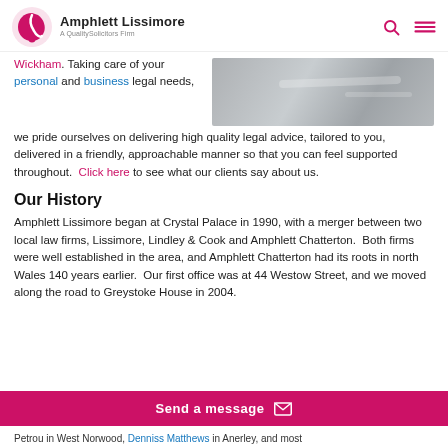Amphlett Lissimore — A QualitySolicitors Firm
[Figure (photo): Grey/silver blurred horizontal image, likely a road or metal surface]
Wickham. Taking care of your personal and business legal needs, we pride ourselves on delivering high quality legal advice, tailored to you, delivered in a friendly, approachable manner so that you can feel supported throughout. Click here to see what our clients say about us.
Our History
Amphlett Lissimore began at Crystal Palace in 1990, with a merger between two local law firms, Lissimore, Lindley & Cook and Amphlett Chatterton. Both firms were well established in the area, and Amphlett Chatterton had its roots in north Wales 140 years earlier. Our first office was at 44 Westow Street, and we moved along the road to Greystoke House in 2004.
Petrou in West Norwood, Denniss Matthews in Anerley, and most
Send a message